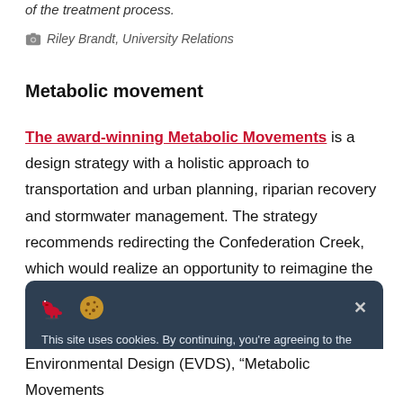of the treatment process.
Riley Brandt, University Relations
Metabolic movement
The award-winning Metabolic Movements is a design strategy with a holistic approach to transportation and urban planning, riparian recovery and stormwater management. The strategy recommends redirecting the Confederation Creek, which would realize an opportunity to reimagine the public space that was once the creek and the surrounding area. This would support the realization of ecological
This site uses cookies. By continuing, you're agreeing to the use of cookies outlined in our Digital Privacy Statement.
Environmental Design (EVDS), “Metabolic Movements